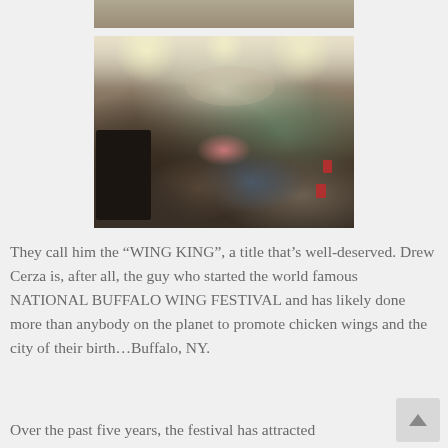[Figure (photo): Partial top of a photo showing people, cropped at the top of the page]
[Figure (photo): Indoor scene at a bar or restaurant event. A crowd of people celebrating, some raising hands in the air. A person with a TV camera is filming on the left. People are seated at tables with red cups. Bright lights on ceiling.]
They call him the “WING KING”, a title that’s well-deserved. Drew Cerza is, after all, the guy who started the world famous NATIONAL BUFFALO WING FESTIVAL and has likely done more than anybody on the planet to promote chicken wings and the city of their birth…Buffalo, NY.
Over the past five years, the festival has attracted